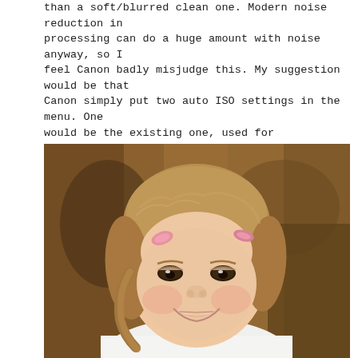than a soft/blurred clean one. Modern noise reduction in processing can do a huge amount with noise anyway, so I feel Canon badly misjudge this. My suggestion would be that Canon simply put two auto ISO settings in the menu. One would be the existing one, used for landscapes, stills etc. The second would be labelled (auto ISO people/moving) or similar, and this would simply favour the higher shutter speed to give the desired aperture, and would still motion within reason! Feel free Canon, just send me a free 5D Mk3 for my idea!
[Figure (photo): Portrait photo of a young smiling girl with light brown hair styled with two small pink hair clips/barrettes, wearing a white top, photographed in warm indoor lighting with shallow depth of field and blurred background]